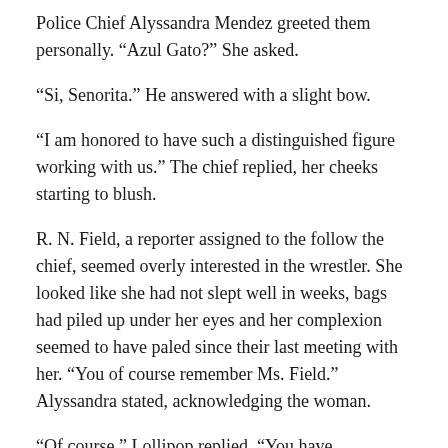Police Chief Alyssandra Mendez greeted them personally. “Azul Gato?” She asked.
“Si, Senorita.” He answered with a slight bow.
“I am honored to have such a distinguished figure working with us.” The chief replied, her cheeks starting to blush.
R. N. Field, a reporter assigned to the follow the chief, seemed overly interested in the wrestler. She looked like she had not slept well in weeks, bags had piled up under her eyes and her complexion seemed to have paled since their last meeting with her. “You of course remember Ms. Field.” Alyssandra stated, acknowledging the woman.
“Of course.” Lollipop replied. “You have something for us chief?”